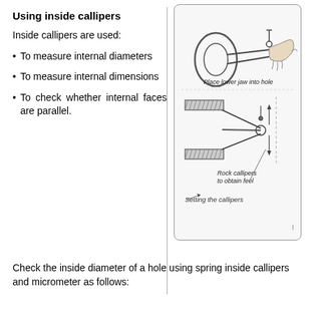Using inside callipers
Inside callipers are used:
To measure internal diameters
To measure internal dimensions
To check whether internal faces are parallel.
[Figure (engineering-diagram): Two diagrams showing how to use inside spring callipers. Top diagram: hand placing lower jaw of callipers into a hole, with caption 'Place lower jaw into hole'. Bottom diagram: callipers positioned between two flat surfaces with arrows indicating rocking motion, with caption 'Rock callipers to obtain feel'. Overall caption: 'Setting the callipers'.]
Check the inside diameter of a hole using spring inside callipers and micrometer as follows: